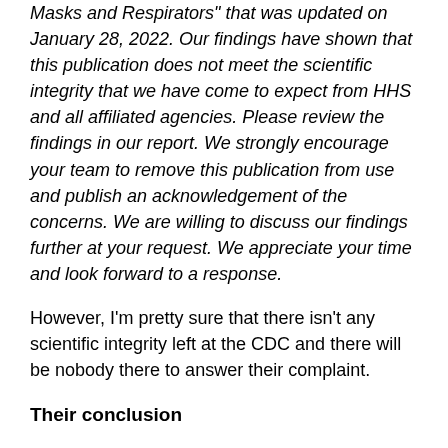Masks and Respirators" that was updated on January 28, 2022. Our findings have shown that this publication does not meet the scientific integrity that we have come to expect from HHS and all affiliated agencies. Please review the findings in our report. We strongly encourage your team to remove this publication from use and publish an acknowledgement of the concerns. We are willing to discuss our findings further at your request. We appreciate your time and look forward to a response.
However, I'm pretty sure that there isn't any scientific integrity left at the CDC and there will be nobody there to answer their complaint.
Their conclusion
The CDC is doing enormous damage to science and scientists by allowing politics to dictate public health policy